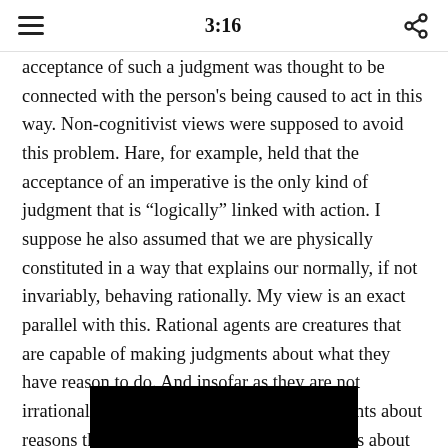3:16
acceptance of such a judgment was thought to be connected with the person’s being caused to act in this way. Non-cognitivist views were supposed to avoid this problem. Hare, for example, held that the acceptance of an imperative is the only kind of judgment that is “logically” linked with action. I suppose he also assumed that we are physically constituted in a way that explains our normally, if not invariably, behaving rationally. My view is an exact parallel with this. Rational agents are creatures that are capable of making judgments about what they have reason to do. And insofar as they are not irrational, they act in accord with the judgments about reasons that they accept. So even if judgments about reasons are the kind of things that can be true or false, the acceptance of such judgments has “practical force” in just the way that Hare thought the acceptance of imperatives did.
[Figure (photo): Black rectangular image at the bottom of the page]